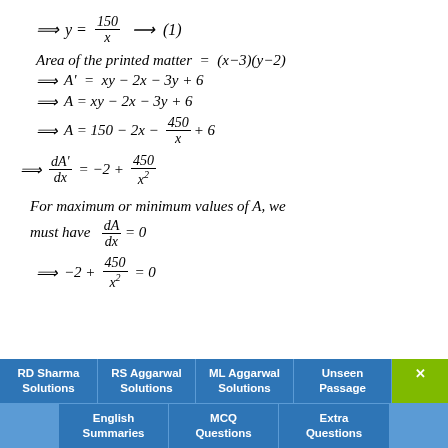Area of the printed matter = (x-3)(y-2)
For maximum or minimum values of A, we must have dA/dx = 0
RD Sharma Solutions | RS Aggarwal Solutions | ML Aggarwal Solutions | Unseen Passage | English Summaries | MCQ Questions | Extra Questions